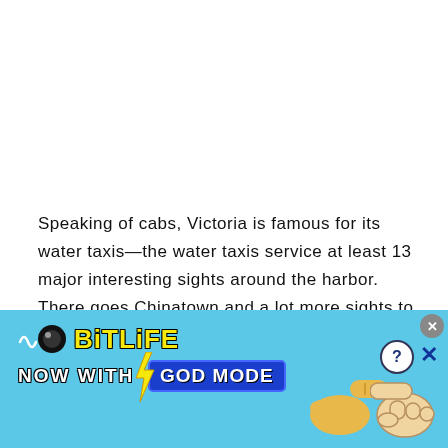Speaking of cabs, Victoria is famous for its water taxis—the water taxis service at least 13 major interesting sights around the harbor. There goes Chinatown and a lot more sights to see.
[Figure (illustration): BitLife advertisement banner with blue background, BitLife logo in yellow bold text with squiggle and circle icon, 'NOW WITH GOD MODE' text, pointing hand illustrations, close (X) and help (?) buttons.]